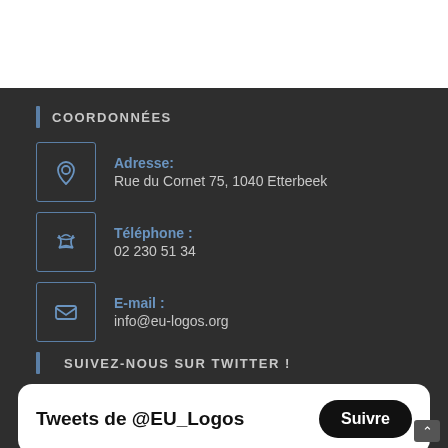COORDONNÉES
Adresse: Rue du Cornet 75, 1040 Etterbeek
Téléphone : 02 230 51 34
E-mail : info@eu-logos.org
SUIVEZ-NOUS SUR TWITTER !
Tweets de @EU_Logos Suivre